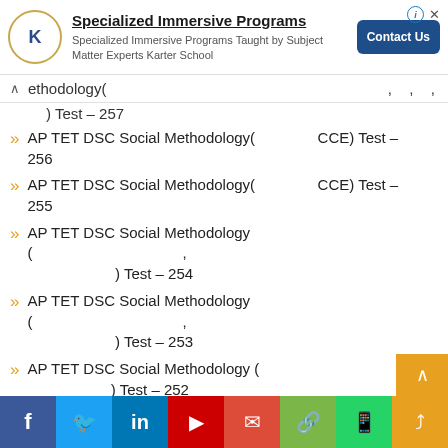[Figure (other): Advertisement banner for Karter School - Specialized Immersive Programs with Contact Us button]
ethodology( ) Test – 257 , , ,
AP TET DSC Social Methodology( CCE) Test – 256
AP TET DSC Social Methodology( CCE) Test – 255
AP TET DSC Social Methodology ( , ) Test – 254
AP TET DSC Social Methodology ( , ) Test – 253
AP TET DSC Social Methodology ( ) Test – 252